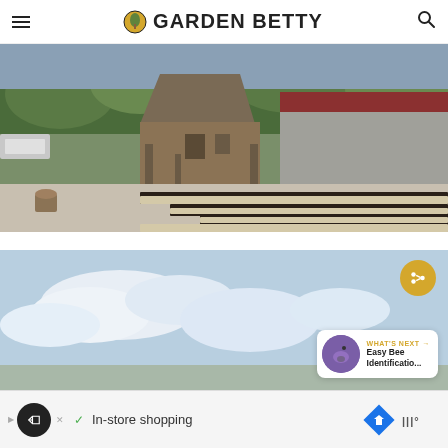Garden Betty
[Figure (photo): Rustic wooden barn with raised garden beds in the foreground, trees and red-roofed building in background, gravel path]
[Figure (photo): Blue sky with white clouds, share button overlay and 'What's Next - Easy Bee Identificatio...' card overlay]
WHAT'S NEXT → Easy Bee Identificatio...
[Figure (other): Advertisement banner: Loopnet logo, checkmark, In-store shopping text, map/navigation icons, wavy temperature icon]